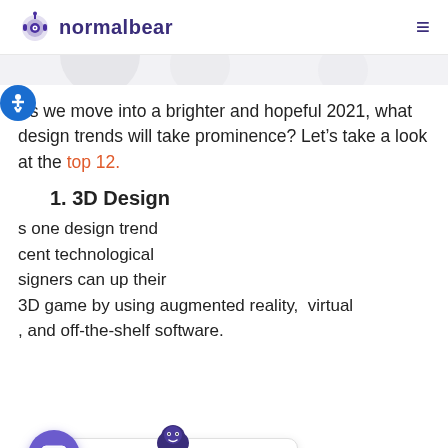normalbear
As we move into a brighter and hopeful 2021, what design trends will take prominence? Let’s take a look at the top 12.
1. 3D Design
s one design trend cent technological signers can up their 3D game by using augmented reality,  virtual , and off-the-shelf software.
[Figure (screenshot): Chat widget popup with robot avatar, close button, and text: Hi there! If you have any questions? I’m happy to help.]